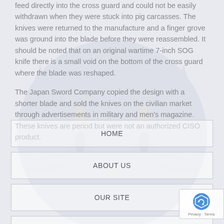feed directly into the cross guard and could not be easily withdrawn when they were stuck into pig carcasses. The knives were returned to the manufacture and a finger grove was ground into the blade before they were reassembled. It should be noted that on an original wartime 7-inch SOG knife there is a small void on the bottom of the cross guard where the blade was reshaped.
The Japan Sword Company copied the design with a shorter blade and sold the knives on the civilian market through advertisements in military and men's magazine. These knives are period but were not an authorized CISO product.
HOME
ABOUT US
OUR SITE
DONATE ITEMS